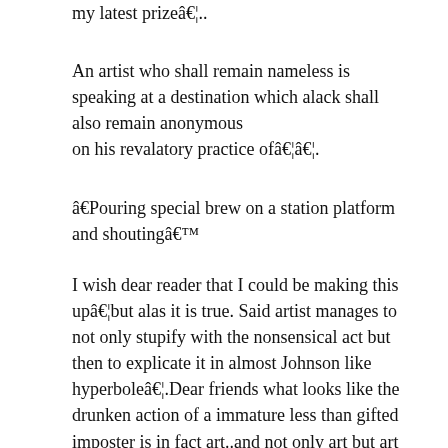my latest prizeâ€¦..
An artist who shall remain nameless is speaking at a destination which alack shall also remain anonymous
on his revalatory practice ofâ€¦â€¦.
â€Pouring special brew on a station platform and shoutingâ€™
I wish dear reader that I could be making this upâ€¦but alas it is true. Said artist manages to not only stupify with the nonsensical act but then to explicate it in almost Johnson like hyperboleâ€¦.Dear friends what looks like the drunken action of a immature less than gifted imposter is in fact art..and not only art but art of a high order..art that bears a direct descendance form the Greek Gods and Hermes himself and yes from a